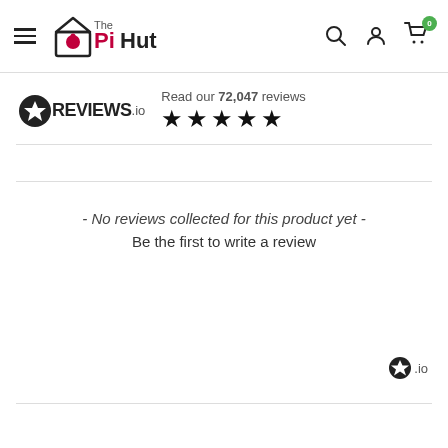The PiHut — Navigation header with hamburger menu, logo, search, account, and cart (0 items)
[Figure (logo): REVIEWS.io logo with star badge, followed by text 'Read our 72,047 reviews' and five black stars]
- No reviews collected for this product yet -
Be the first to write a review
[Figure (logo): Small REVIEWS.io badge (.io) in bottom right]